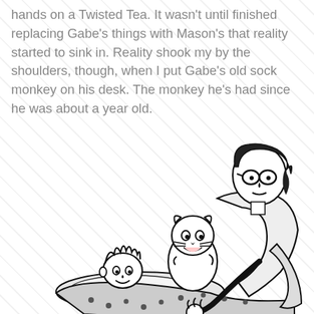hands on a Twisted Tea. It wasn't until finished replacing Gabe's things with Mason's that reality started to sink in. Reality shook my by the shoulders, though, when I put Gabe's old sock monkey on his desk. The monkey he's had since he was about a year old.
[Figure (illustration): Black and white cartoon illustration of a child lying in bed with a stuffed tiger toy, and an adult leaning over them, reminiscent of Calvin and Hobbes style art.]